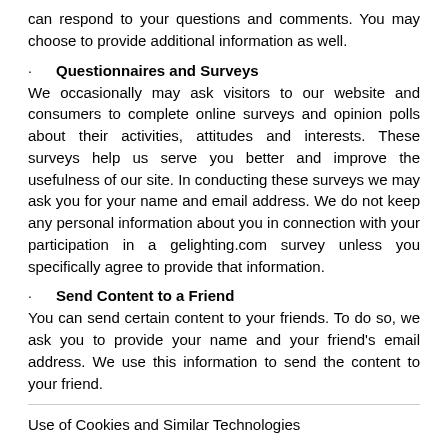can respond to your questions and comments. You may choose to provide additional information as well.
Questionnaires and Surveys
We occasionally may ask visitors to our website and consumers to complete online surveys and opinion polls about their activities, attitudes and interests. These surveys help us serve you better and improve the usefulness of our site. In conducting these surveys we may ask you for your name and email address. We do not keep any personal information about you in connection with your participation in a gelighting.com survey unless you specifically agree to provide that information.
Send Content to a Friend
You can send certain content to your friends. To do so, we ask you to provide your name and your friend's email address. We use this information to send the content to your friend.
Use of Cookies and Similar Technologies
Like most companies we use cookies on our websites. We